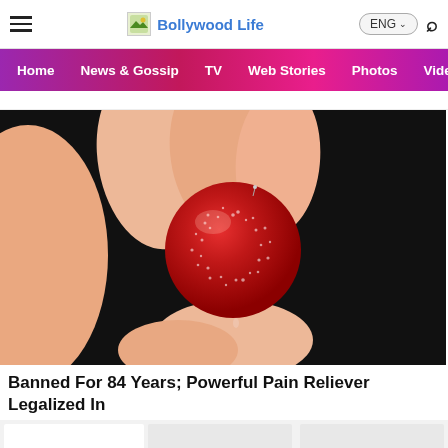Bollywood Life
[Figure (screenshot): Navigation bar with Home, News & Gossip, TV, Web Stories, Photos, Video menu items on a purple-to-pink gradient background]
[Figure (photo): Close-up photo of a hand holding a red sugar-coated gummy candy against a dark background]
Banned For 84 Years; Powerful Pain Reliever Legalized In